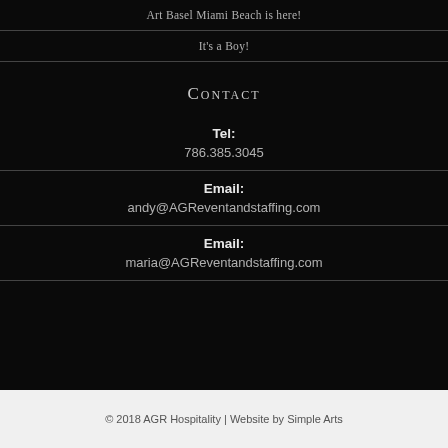Art Basel Miami Beach is here!
It's a Boy!
Contact
Tel:
786.385.3045
Email:
andy@AGReventandstaffing.com
Email:
maria@AGReventandstaffing.com
© 2018 AGR Hospitality | Website by Simple Arts